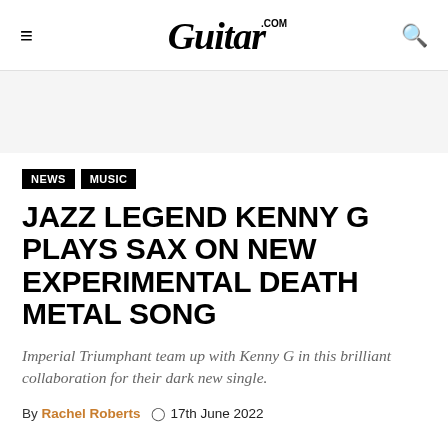Guitar.com
[Figure (other): Advertisement banner / gray area placeholder]
NEWS   MUSIC
JAZZ LEGEND KENNY G PLAYS SAX ON NEW EXPERIMENTAL DEATH METAL SONG
Imperial Triumphant team up with Kenny G in this brilliant collaboration for their dark new single.
By Rachel Roberts   17th June 2022